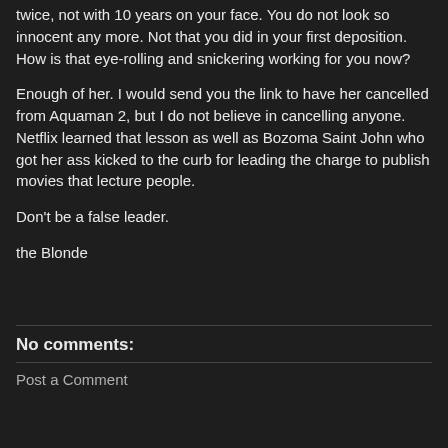twice, not with 10 years on your face. You do not look so innocent any more. Not that you did in your first deposition. How is that eye-rolling and snickering working for you now?
Enough of her. I would send you the link to have her cancelled from Aquaman 2, but I do not believe in cancelling anyone. Netflix learned that lesson as well as Bozoma Saint John who got her ass kicked to the curb for leading the charge to publish movies that lecture people.
Don't be a false leader.
the Blonde
No comments:
Post a Comment